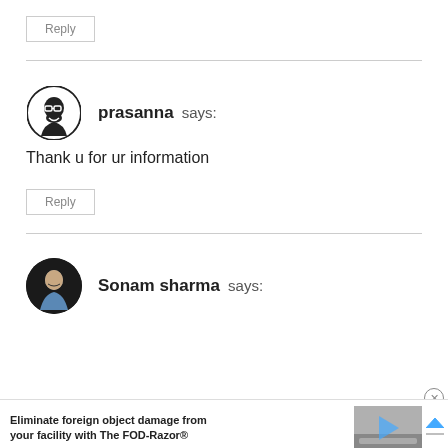Reply
prasanna says:
Thank u for ur information
Reply
Sonam sharma says:
Eliminate foreign object damage from your facility with The FOD-Razor®